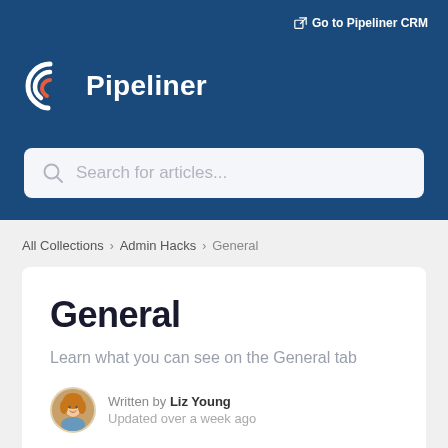Go to Pipeliner CRM
Pipeliner
Search for articles...
All Collections > Admin Hacks > General
General
Learn what you can see on the General tab
Written by Liz Young
Updated over a week ago